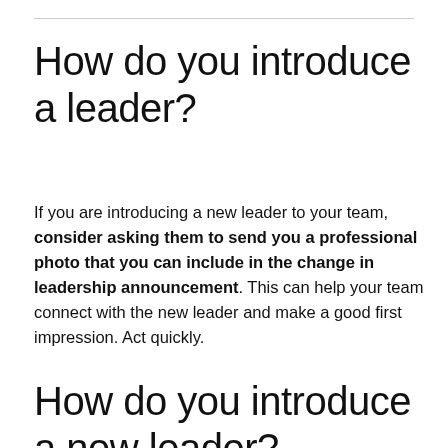How do you introduce a leader?
If you are introducing a new leader to your team, consider asking them to send you a professional photo that you can include in the change in leadership announcement. This can help your team connect with the new leader and make a good first impression. Act quickly.
How do you introduce a new leader?